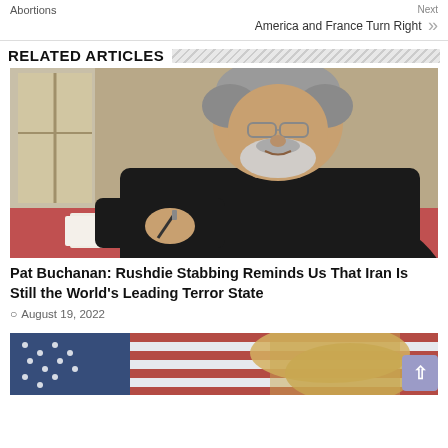Abortions
Next America and France Turn Right
RELATED ARTICLES
[Figure (photo): Man in black jacket leaning over a desk writing with a pen, wearing glasses, white/gray hair and beard, in an indoor setting with windows in the background]
Pat Buchanan: Rushdie Stabbing Reminds Us That Iran Is Still the World's Leading Terror State
August 19, 2022
[Figure (photo): Partial image of a woman with blonde hair in front of an American flag background]